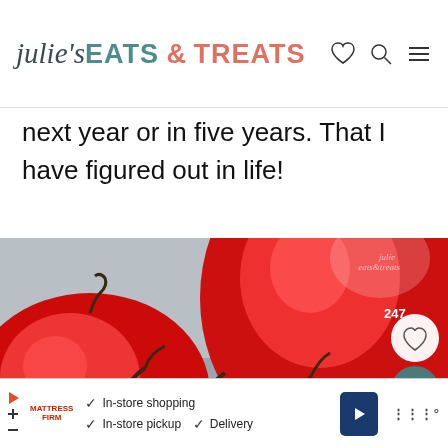julie's EATS & TREATS
next year or in five years. That I have figured out in life!
[Figure (photo): Close-up photo of red tomatoes on the vine with dark stems/twigs, blurred background, with a watermark reading julie eats&treats and a heart/save count of 247]
[Figure (other): Advertisement banner: Mattress Firm ad with checkmarks for In-store shopping, In-store pickup, Delivery]